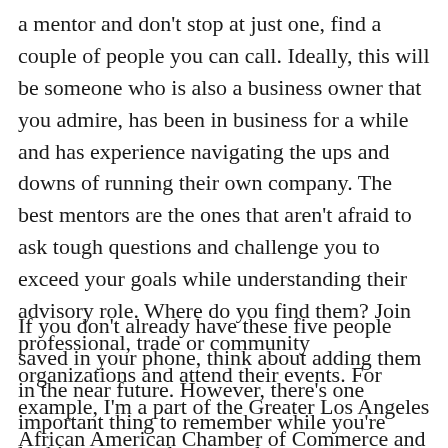a mentor and don't stop at just one, find a couple of people you can call. Ideally, this will be someone who is also a business owner that you admire, has been in business for a while and has experience navigating the ups and downs of running their own company. The best mentors are the ones that aren't afraid to ask tough questions and challenge you to exceed your goals while understanding their advisory role. Where do you find them? Join professional, trade or community organizations and attend their events. For example, I'm a part of the Greater Los Angeles African American Chamber of Commerce and National Association of Women Business Owners.
If you don't already have these five people saved in your phone, think about adding them in the near future. However, there's one important thing to remember while you're looking to meet these people – you get to choose who you do business with, so find folks with great rapport who you can trust. You want to be able to develop long-term relationships with each of them so